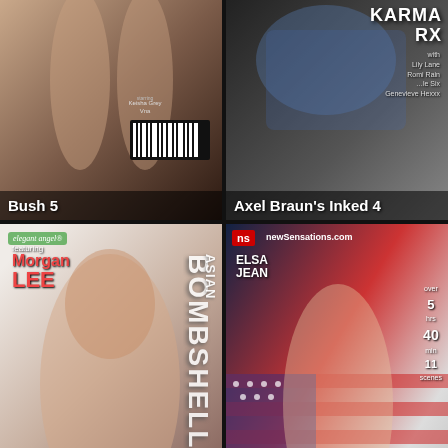[Figure (photo): Movie cover: Bush 5]
[Figure (photo): Movie cover: Axel Braun's Inked 4 featuring Karma RX]
[Figure (photo): Movie cover: Asian Bombshells 2 featuring Morgan Lee]
[Figure (photo): Movie cover: All American Girls featuring Elsa Jean]